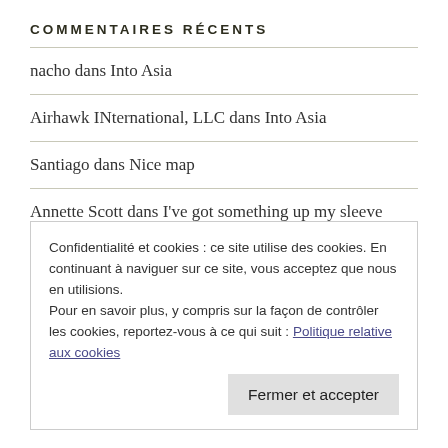COMMENTAIRES RÉCENTS
nacho dans Into Asia
Airhawk INternational, LLC dans Into Asia
Santiago dans Nice map
Annette Scott dans I've got something up my sleeve
Aurelien dans The road
Confidentialité et cookies : ce site utilise des cookies. En continuant à naviguer sur ce site, vous acceptez que nous en utilisions. Pour en savoir plus, y compris sur la façon de contrôler les cookies, reportez-vous à ce qui suit : Politique relative aux cookies
Fermer et accepter